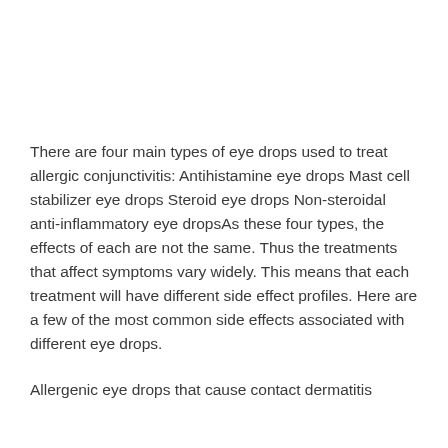There are four main types of eye drops used to treat allergic conjunctivitis: Antihistamine eye drops Mast cell stabilizer eye drops Steroid eye drops Non-steroidal anti-inflammatory eye dropsAs these four types, the effects of each are not the same. Thus the treatments that affect symptoms vary widely. This means that each treatment will have different side effect profiles. Here are a few of the most common side effects associated with different eye drops.
Allergenic eye drops that cause contact dermatitis